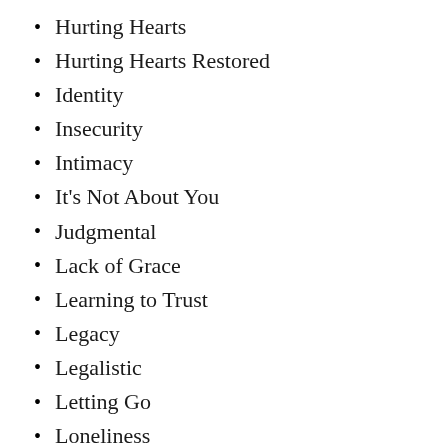Hurting Hearts
Hurting Hearts Restored
Identity
Insecurity
Intimacy
It's Not About You
Judgmental
Lack of Grace
Learning to Trust
Legacy
Legalistic
Letting Go
Loneliness
Looking For Love
Love
Love Needs